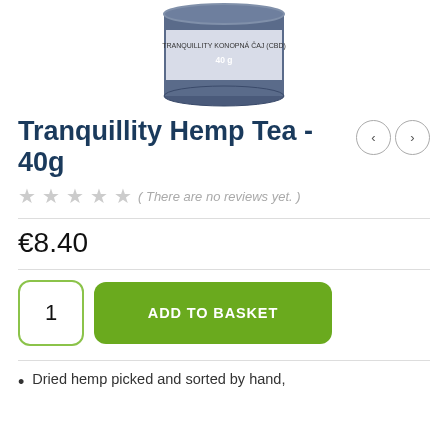[Figure (photo): A round tin/can of Tranquillity Hemp Tea 40g with a blue/dark blue label, partially shown at the top of the page.]
Tranquillity Hemp Tea - 40g
( There are no reviews yet. )
€8.40
1
ADD TO BASKET
Dried hemp picked and sorted by hand,